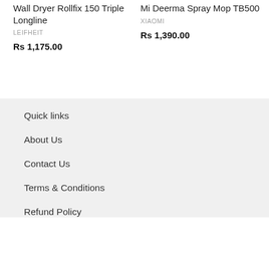Wall Dryer Rollfix 150 Triple Longline
LEIFHEIT
Rs 1,175.00
Mi Deerma Spray Mop TB500
XIAOMI
Rs 1,390.00
Quick links
About Us
Contact Us
Terms & Conditions
Refund Policy